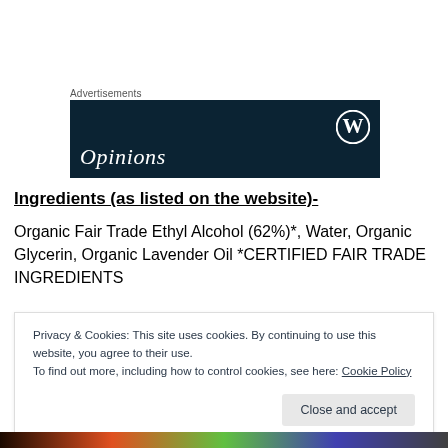Advertisements
[Figure (screenshot): Dark navy blue advertisement banner for WordPress/Opinions blog, showing WordPress logo (W in circle) in top right and partial italic serif text 'Opinions' at the bottom left]
Ingredients (as listed on the website)-
Organic Fair Trade Ethyl Alcohol (62%)*, Water, Organic Glycerin, Organic Lavender Oil *CERTIFIED FAIR TRADE INGREDIENTS
Privacy & Cookies: This site uses cookies. By continuing to use this website, you agree to their use.
To find out more, including how to control cookies, see here: Cookie Policy
Close and accept